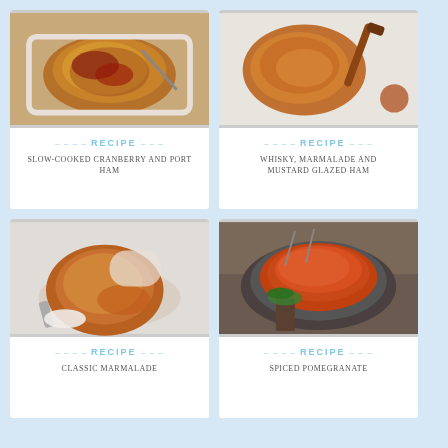[Figure (photo): Slow-cooked cranberry and port ham on a white plate with a knife]
RECIPE
SLOW-COOKED CRANBERRY AND PORT HAM
[Figure (photo): Whisky, marmalade and mustard glazed ham on a white plate with a brush]
RECIPE
WHISKY, MARMALADE AND MUSTARD GLAZED HAM
[Figure (photo): Classic marmalade glazed ham on a plate, sliced]
RECIPE
CLASSIC MARMALADE
[Figure (photo): Spiced pomegranate glazed ham on a dark plate with herbs]
RECIPE
SPICED POMEGRANATE